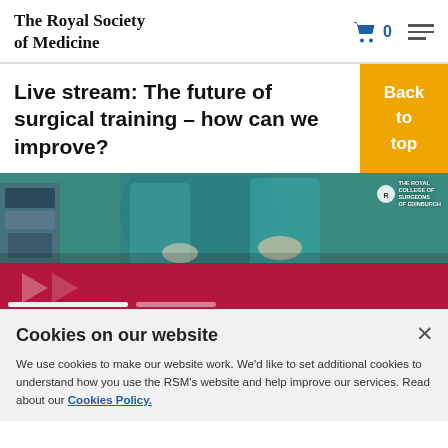The Royal Society of Medicine
Live stream: The future of surgical training – how can we improve?
[Figure (screenshot): Photograph of surgeons in an operating theatre wearing teal surgical gowns, with medical equipment visible. Overlaid with a red/crimson panel at the bottom containing play arrow graphics and video progress bars. Royal College of Surgeons of Edinburgh logo visible in the top-right corner of the image.]
Cookies on our website
We use cookies to make our website work. We'd like to set additional cookies to understand how you use the RSM's website and help improve our services. Read about our Cookies Policy.